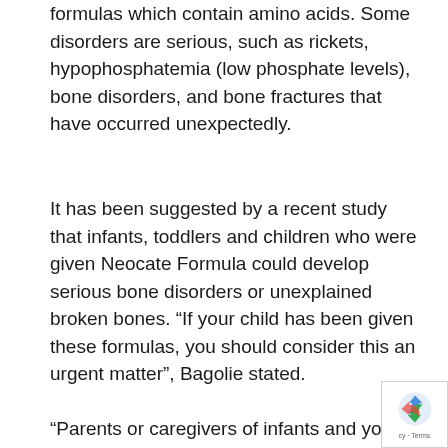developed disorders while being fed these formulas which contain amino acids. Some disorders are serious, such as rickets, hypophosphatemia (low phosphate levels), bone disorders, and bone fractures that have occurred unexpectedly.
It has been suggested by a recent study that infants, toddlers and children who were given Neocate Formula could develop serious bone disorders or unexplained broken bones. “If your child has been given these formulas, you should consider this an urgent matter”, Bagolie stated.
“Parents or caregivers of infants and young